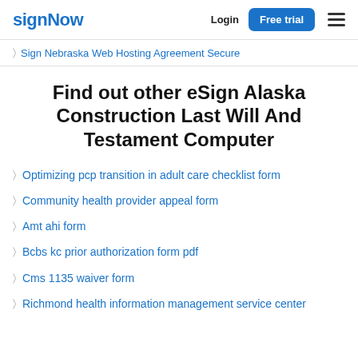signNow | Login | Free trial
Sign Nebraska Web Hosting Agreement Secure
Find out other eSign Alaska Construction Last Will And Testament Computer
Optimizing pcp transition in adult care checklist form
Community health provider appeal form
Amt ahi form
Bcbs kc prior authorization form pdf
Cms 1135 waiver form
Richmond health information management service center